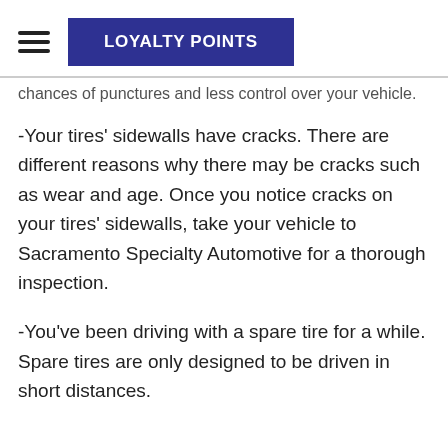LOYALTY POINTS
chances of punctures and less control over your vehicle.
-Your tires' sidewalls have cracks. There are different reasons why there may be cracks such as wear and age. Once you notice cracks on your tires' sidewalls, take your vehicle to Sacramento Specialty Automotive for a thorough inspection.
-You've been driving with a spare tire for a while. Spare tires are only designed to be driven in short distances.